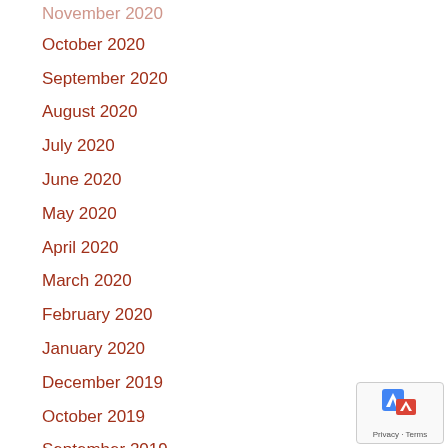November 2020
October 2020
September 2020
August 2020
July 2020
June 2020
May 2020
April 2020
March 2020
February 2020
January 2020
December 2019
October 2019
September 2019
August 2019
July 2019
June 2019